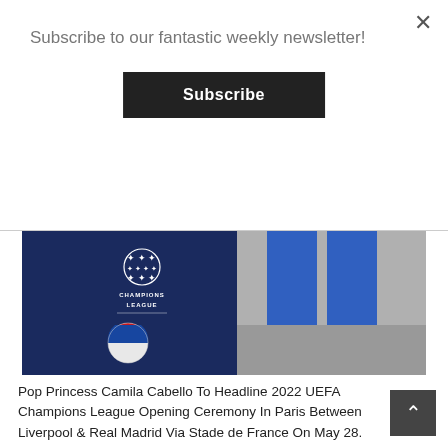Subscribe to our fantastic weekly newsletter!
Subscribe
[Figure (photo): Champions League and Pepsi branded display with a person in blue trousers and white sandals standing next to it]
Pop Princess Camila Cabello To Headline 2022 UEFA Champions League Opening Ceremony In Paris Between Liverpool & Real Madrid Via Stade de France On May 28.
"Camila Cabello is slated to headline the Opening Ceremony of the 2022 EUFA Champions League Final. The signing comes as the..."